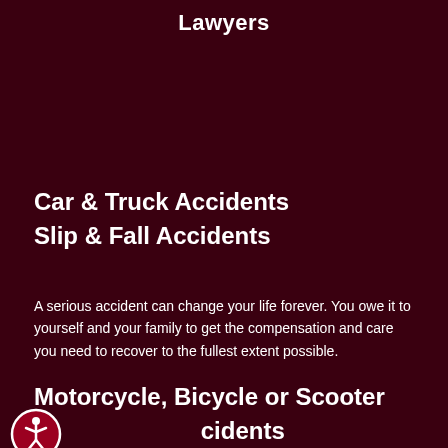Lawyers
Car & Truck Accidents
Slip & Fall Accidents
A serious accident can change your life forever. You owe it to yourself and your family to get the compensation and care you need to recover to the fullest extent possible.
Motorcycle, Bicycle or Scooter Accidents
[Figure (illustration): Accessibility person icon in a red circle with white border]